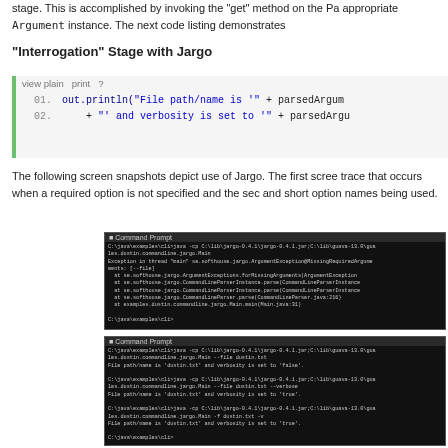stage. This is accomplished by invoking the "get" method on the Pa appropriate Argument instance. The next code listing demonstrates
"Interrogation" Stage with Jargo
[Figure (screenshot): Code listing showing two lines of Java code: out.println("File path/name is '" + parsedArgum... + "' and verbosity is set to '" + parsedArgu... with view plain, print, ? toolbar]
The following screen snapshots depict use of Jargo. The first scree trace that occurs when a required option is not specified and the sec and short option names being used.
[Figure (screenshot): Command Prompt window showing a Java exception stack trace when a required option is not specified]
[Figure (screenshot): Command Prompt window showing successful Jargo runs with --file dustin.txt, --verbose, and -f dustin.txt -v options]